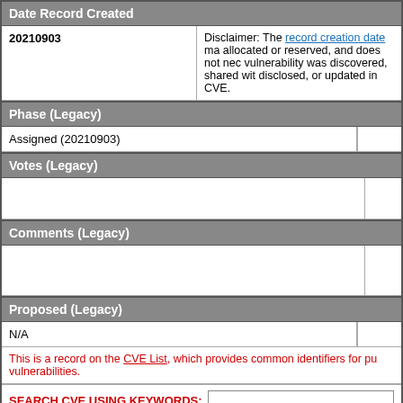Date Record Created
| 20210903 | Disclaimer: The record creation date may... |
| --- | --- |
Phase (Legacy)
| Assigned (20210903) |  |
Votes (Legacy)
|  |  |
Comments (Legacy)
|  |  |
Proposed (Legacy)
| N/A |  |
This is a record on the CVE List, which provides common identifiers for publicly known cybersecurity vulnerabilities.
SEARCH CVE USING KEYWORDS:
You can also search by reference using the CVE Reference Maps.
For More Information: CVE Request Web Form (select "Other"
BACK TO TOP